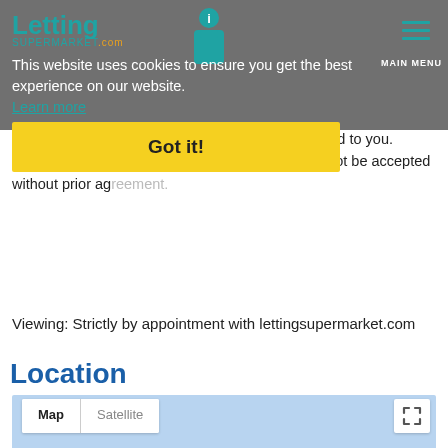Letting Supermarket.com [logo]
This website uses cookies to ensure you get the best experience on our website. Learn more
Got it!
reference and a link to our offer form will be emailed to you. Please note that applications prior to viewing will not be accepted without prior agreement.
Viewing: Strictly by appointment with lettingsupermarket.com
Location
[Figure (map): Google Maps embed showing Map/Satellite toggle buttons and a location marker, map tiles in light blue]